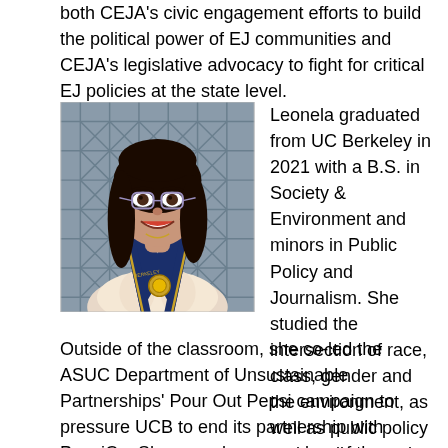both CEJA's civic engagement efforts to build the political power of EJ communities and CEJA's legislative advocacy to fight for critical EJ policies at the state level.
[Figure (photo): Photo of Leonela, a young woman wearing glasses and a navy blue UC Berkeley graduation stole with gold trim, smiling in front of a geometric metal grill background.]
Leonela graduated from UC Berkeley in 2021 with a B.S. in Society & Environment and minors in Public Policy and Journalism. She studied the intersection of race, class, gender and the environment, as well as public policy and media as tools for achieving justice. Outside of the classroom, she co-led the ASUC Department of Unsustainable Partnerships' Pour Out Pepsi campaign to pressure UCB to end its partnership with PepsiCo. She was also a member of the Students of Color